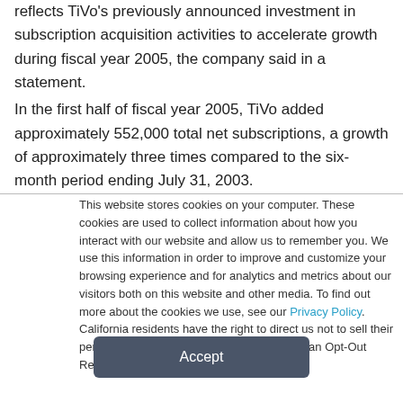reflects TiVo's previously announced investment in subscription acquisition activities to accelerate growth during fiscal year 2005, the company said in a statement.
In the first half of fiscal year 2005, TiVo added approximately 552,000 total net subscriptions, a growth of approximately three times compared to the six-month period ending July 31, 2003.
This website stores cookies on your computer. These cookies are used to collect information about how you interact with our website and allow us to remember you. We use this information in order to improve and customize your browsing experience and for analytics and metrics about our visitors both on this website and other media. To find out more about the cookies we use, see our Privacy Policy. California residents have the right to direct us not to sell their personal information to third parties by filing an Opt-Out Request: Do Not Sell My Personal Info.